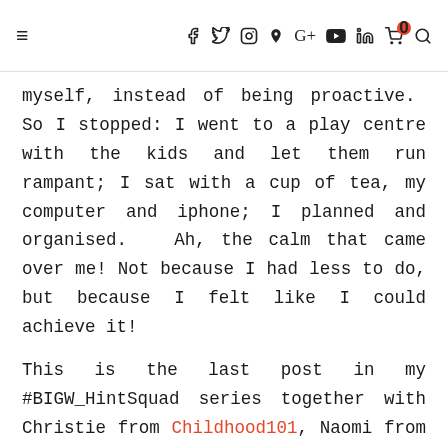≡  f  🐦  instagram  pinterest  G+  youtube  in  🛒0  🔍
myself, instead of being proactive.  So I stopped: I went to a play centre with the kids and let them run rampant; I sat with a cup of tea, my computer and iphone; I planned and organised.  Ah, the calm that came over me! Not because I had less to do, but because I felt like I could achieve it!

This is the last post in my #BIGW_HintSquad series together with Christie from Childhood101, Naomi from Seven Cherubs and Trae from Where's My Glow?.  I've enjoyed putting these posts together and I hope it's been useful to you
too.  For this last one, I'm sharing some of the strategies I put in place on the home stretch to